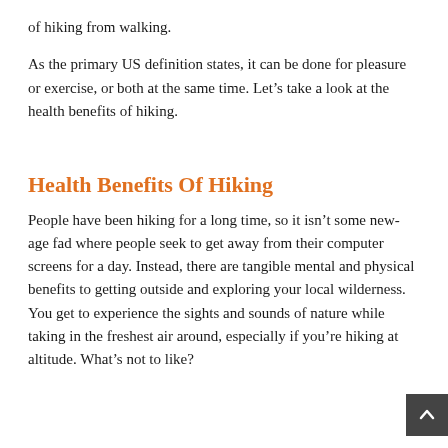of hiking from walking.
As the primary US definition states, it can be done for pleasure or exercise, or both at the same time. Let’s take a look at the health benefits of hiking.
Health Benefits Of Hiking
People have been hiking for a long time, so it isn’t some new-age fad where people seek to get away from their computer screens for a day. Instead, there are tangible mental and physical benefits to getting outside and exploring your local wilderness. You get to experience the sights and sounds of nature while taking in the freshest air around, especially if you’re hiking at altitude. What’s not to like?